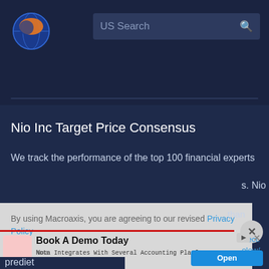[Figure (logo): Macroaxis globe logo with orange and blue colors]
US Search
Nio Inc Target Price Consensus
We track the performance of the top 100 financial experts
s. Nio
By using Macroaxis, you are agreeing to our revised Privacy Policy
than
ect.
elow/
nce
Book A Demo Today
Nota Integrates With Several Accounting Platforms to Simplify Legal Banking.
Nota
Open
predict